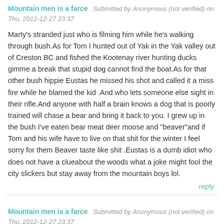Mountain men is a farce — Submitted by Anonymous (not verified) on Thu, 2012-12-27 23:37
Marty's stranded just who is filming him while he's walking through bush.As for Tom I hunted out of Yak in the Yak valley out of Creston BC and fished the Kootenay river hunting ducks gimme a break that stupid dog cannot find the boat.As for that other bush hippie Eustas he missed his shot and called it a miss fire while he blamed the kid .And who lets someone else sight in their rifle.And anyone with half a brain knows a dog that is poorly trained will chase a bear and bring it back to you. I grew up in the bush I've eaten bear meat deer moose and "beaver"and if Tom and his wife have to live on that shit for the winter I feel sorry for them Beaver taste like shit .Eustas is a dumb idiot who does not have a clueabout the woods what a joke might fool the city slickers but stay away from the mountain boys lol.
reply
Mountain men is a farce — Submitted by Anonymous (not verified) on Thu, 2012-12-27 23:37